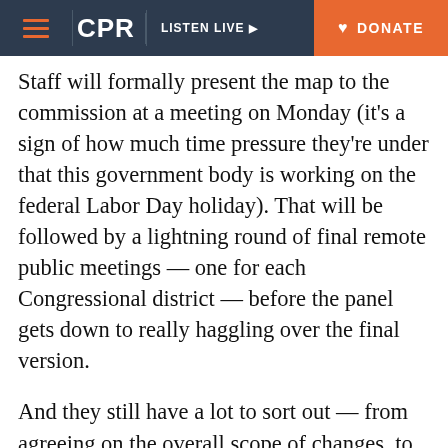CPR | LISTEN LIVE | DONATE
Staff will formally present the map to the commission at a meeting on Monday (it's a sign of how much time pressure they're under that this government body is working on the federal Labor Day holiday). That will be followed by a lightning round of final remote public meetings — one for each Congressional district — before the panel gets down to really haggling over the final version.
And they still have a lot to sort out — from agreeing on the overall scope of changes, to deciding on the placement of individual neighborhoods.
Colorado's constitution requires a supermajority vote to approve a final map, which means eight of the commission's twelve members must agree to the